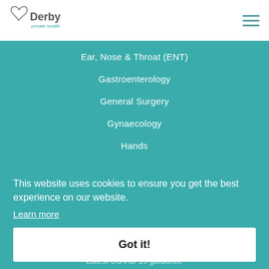[Figure (logo): Derby Private Health logo with heart icon]
Ear, Nose & Throat (ENT)
Gastroenterology
General Surgery
Gynaecology
Hands
This website uses cookies to ensure you get the best experience on our website.
Learn more
Got it!
Latest COVID-19 guidance